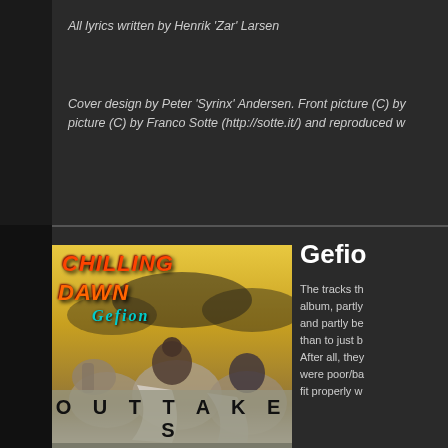All lyrics written by Henrik 'Zar' Larsen
Cover design by Peter 'Syrinx' Andersen. Front picture (C) by picture (C) by Franco Sotte (http://sotte.it/) and reproduced w
[Figure (photo): Album cover for 'Chilling Dawn - Gefion Outtakes' showing fantasy figures on horseback in a golden sky, with 'CHILLING DAWN' in orange text, 'Gefion' in cyan cursive, and 'OUTTAKES' banner at bottom]
Gefion
The tracks th album, partly and partly be than to just b After all, the were poor/ba fit properly w